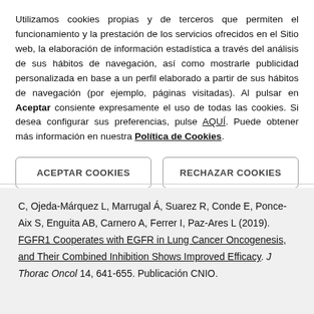Utilizamos cookies propias y de terceros que permiten el funcionamiento y la prestación de los servicios ofrecidos en el Sitio web, la elaboración de información estadística a través del análisis de sus hábitos de navegación, así como mostrarle publicidad personalizada en base a un perfil elaborado a partir de sus hábitos de navegación (por ejemplo, páginas visitadas). Al pulsar en Aceptar consiente expresamente el uso de todas las cookies. Si desea configurar sus preferencias, pulse AQUÍ. Puede obtener más información en nuestra Política de Cookies.
ACEPTAR COOKIES
RECHAZAR COOKIES
C, Ojeda-Márquez L, Marrugal Á, Suarez R, Conde E, Ponce-Aix S, Enguita AB, Carnero A, Ferrer I, Paz-Ares L (2019). FGFR1 Cooperates with EGFR in Lung Cancer Oncogenesis, and Their Combined Inhibition Shows Improved Efficacy. J Thorac Oncol 14, 641-655. Publicación CNIO.